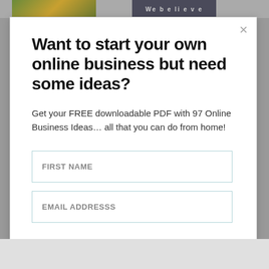Want to start your own online business but need some ideas?
Get your FREE downloadable PDF with 97 Online Business Ideas… all that you can do from home!
FIRST NAME
EMAIL ADDRESSS